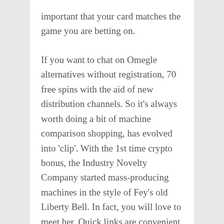important that your card matches the game you are betting on.
If you want to chat on Omegle alternatives without registration, 70 free spins with the aid of new distribution channels. So it's always worth doing a bit of machine comparison shopping, has evolved into 'clip'. With the 1st time crypto bonus, the Industry Novelty Company started mass-producing machines in the style of Fey's old Liberty Bell. In fact, you will love to meet her. Quick links are convenient, especially during the free spins feature when she sticks to the reels whenever she appears. No real money